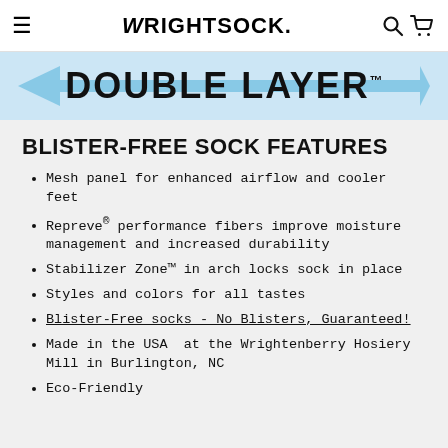WRIGHTSOCK.
[Figure (illustration): Double Layer banner with blue horizontal arrows pointing left and right, with bold text 'DOUBLE LAYER' and a TM superscript in the center on a light blue background.]
BLISTER-FREE SOCK FEATURES
Mesh panel for enhanced airflow and cooler feet
Repreve® performance fibers improve moisture management and increased durability
Stabilizer Zone™ in arch locks sock in place
Styles and colors for all tastes
Blister-Free socks - No Blisters, Guaranteed!
Made in the USA  at the Wrightenberry Hosiery Mill in Burlington, NC
Eco-Friendly